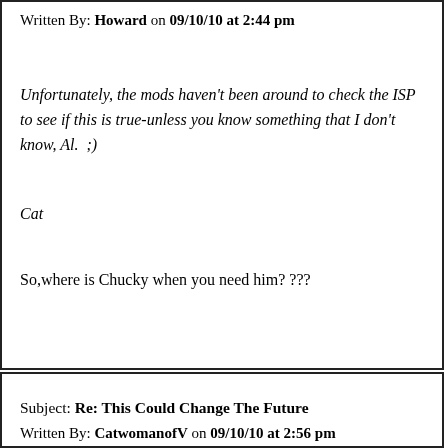Written By: Howard on 09/10/10 at 2:44 pm
Unfortunately, the mods haven't been around to check the ISP to see if this is true-unless you know something that I don't know, Al.  ;)
Cat
So,where is Chucky when you need him? ???
Subject: Re: This Could Change The Future
Written By: CatwomanofV on 09/10/10 at 2:56 pm